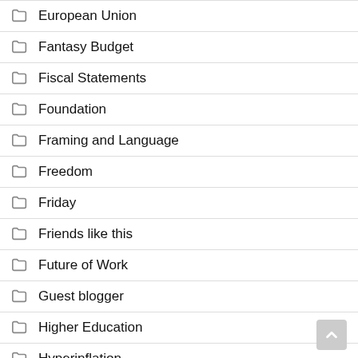European Union
Fantasy Budget
Fiscal Statements
Foundation
Framing and Language
Freedom
Friday
Friends like this
Future of Work
Guest blogger
Higher Education
Hyperinflation